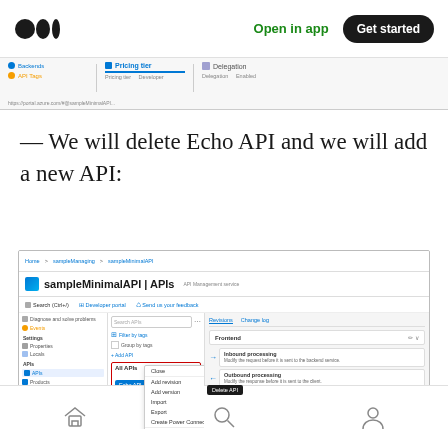Open in app | Get started
[Figure (screenshot): Azure API Management portal navigation strip showing Backends, API Tags, Pricing tier, Developer, Delegation tabs with a URL bar]
— We will delete Echo API and we will add a new API:
[Figure (screenshot): Azure portal screenshot of sampleMinimalAPI | APIs page showing a context menu with Delete option highlighted in a teal box, and a red border around 'All APIs / Echo API' in the left panel. Right panel shows Frontend, Inbound processing, and Outbound processing sections.]
Home | Search | Profile